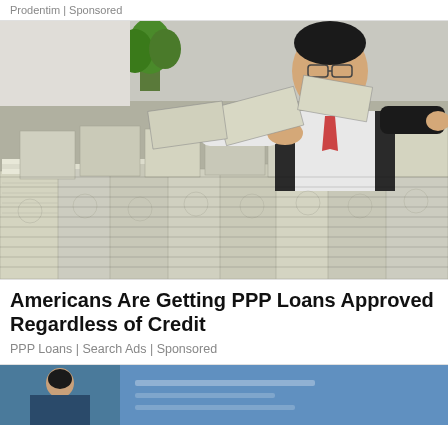Prodentim | Sponsored
[Figure (photo): A man in a suit and glasses surrounded by large stacks of US dollar bills on a desk, handling the cash.]
Americans Are Getting PPP Loans Approved Regardless of Credit
PPP Loans | Search Ads | Sponsored
[Figure (photo): Partial view of a second advertisement image showing a person, partially visible at the bottom of the page.]